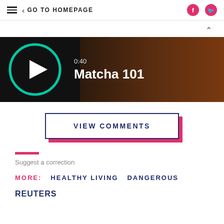GO TO HOMEPAGE
[Figure (screenshot): Video thumbnail showing Matcha 101, duration 0:40, with play button circle in teal/green]
VIEW COMMENTS
Suggest a correction
MORE: HEALTHY LIVING DANGEROUS
REUTERS